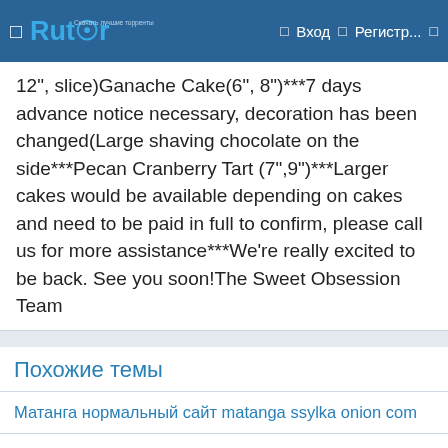Rutor — Вход Регистр...
12", slice)Ganache Cake(6", 8")***7 days advance notice necessary, decoration has been changed(Large shaving chocolate on the side***Pecan Cranberry Tart (7",9")***Larger cakes would be available depending on cakes and need to be paid in full to confirm, please call us for more assistance***We're really excited to be back. See you soon!The Sweet Obsession Team
Похожие темы
Матанга нормальный сайт matanga ssylka onion com
Мониторинг ссылок гидры matanga ssylka onion com
Matanga рабочее зеркало на сегодня matangapchela com
Матанга сайт моментальных покупок onion top com